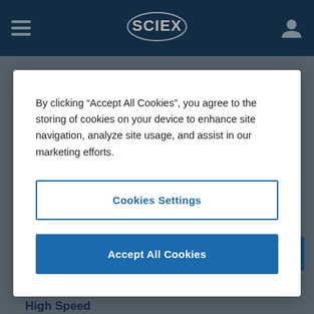SCIEX
By clicking “Accept All Cookies”, you agree to the storing of cookies on your device to enhance site navigation, analyze site usage, and assist in our marketing efforts.
Cookies Settings
Accept All Cookies
Learn More About How Variable Windows Improve Data Quality >
Key Technology Criteria 2. MS/MS Resolution at High Speed